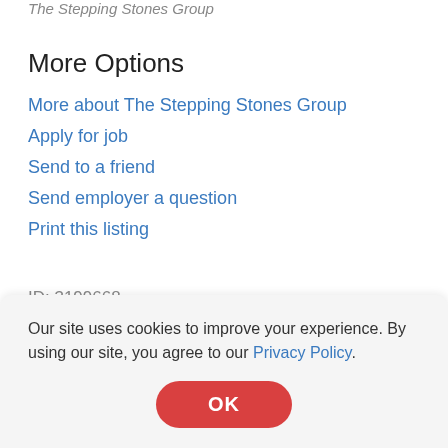The Stepping Stones Group
More Options
More about The Stepping Stones Group
Apply for job
Send to a friend
Send employer a question
Print this listing
ID: 3199668
Our site uses cookies to improve your experience. By using our site, you agree to our Privacy Policy.
OK